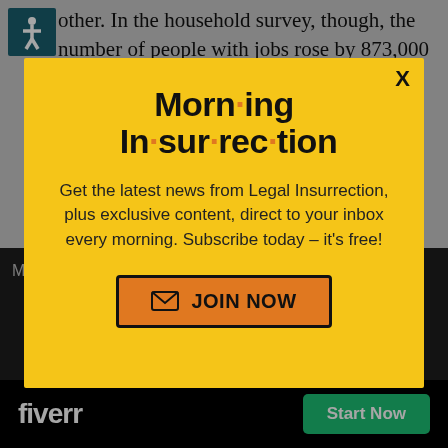other. In the household survey, though, the number of people with jobs rose by 873,000 — a very strange outcome that makes it appear that more than one tweak has been done to
[Figure (infographic): Morning Insurrection email newsletter signup modal with yellow background. Title reads 'Morn·ing In·sur·rec·tion' with orange bullet separators. Subtitle: 'Get the latest news from Legal Insurrection, plus exclusive content, direct to your inbox every morning. Subscribe today – it's free!' with an orange JOIN NOW button.]
Millions of items p expiration...op
[Figure (logo): Fiverr advertisement bar: black background with white 'fiverr' logo and green 'Start Now' button]